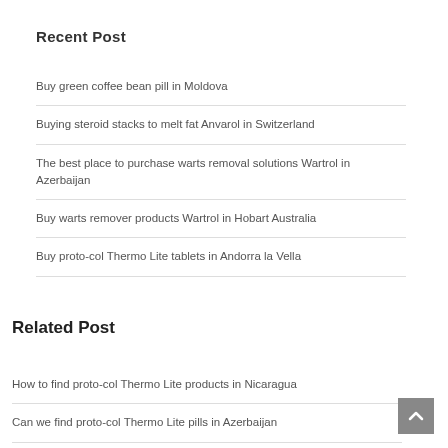Recent Post
Buy green coffee bean pill in Moldova
Buying steroid stacks to melt fat Anvarol in Switzerland
The best place to purchase warts removal solutions Wartrol in Azerbaijan
Buy warts remover products Wartrol in Hobart Australia
Buy proto-col Thermo Lite tablets in Andorra la Vella
Related Post
How to find proto-col Thermo Lite products in Nicaragua
Can we find proto-col Thermo Lite pills in Azerbaijan